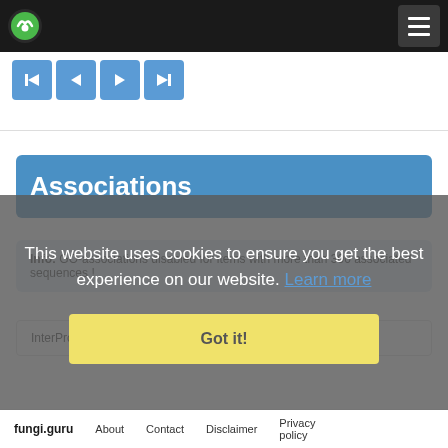fungu.guru navigation header with logo and menu button
[Figure (screenshot): Pagination controls: four blue buttons with skip-to-start, previous, next, skip-to-end icons]
Associations
Info: GO-associations disabled for items with more than 300 associated sequences !
InterPro Domains
This website uses cookies to ensure you get the best experience on our website. Learn more
Got it!
fungi.guru  About  Contact  Disclaimer  Privacy policy